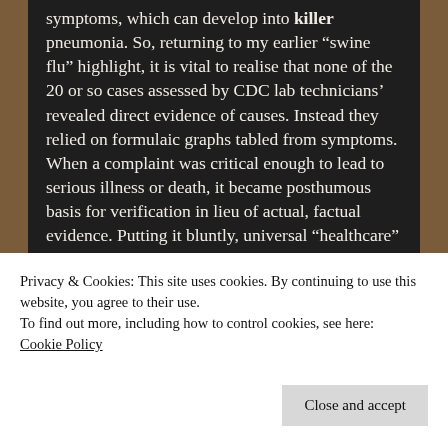symptoms, which can develop into killer pneumonia. So, returning to my earlier “swine flu” highlight, it is vital to realise that none of the 20 or so cases assessed by CDC lab technicians’ revealed direct evidence of causes. Instead they relied on formulaic graphs tabled from symptoms. When a complaint was critical enough to lead to serious illness or death, it became posthumous basis for verification in lieu of actual, factual evidence. Putting it bluntly, universal “healthcare” is unable to fundamentally diagnose any virus (the burglar that’s never caught) or cause “with authority”.
Privacy & Cookies: This site uses cookies. By continuing to use this website, you agree to their use.
To find out more, including how to control cookies, see here: Cookie Policy